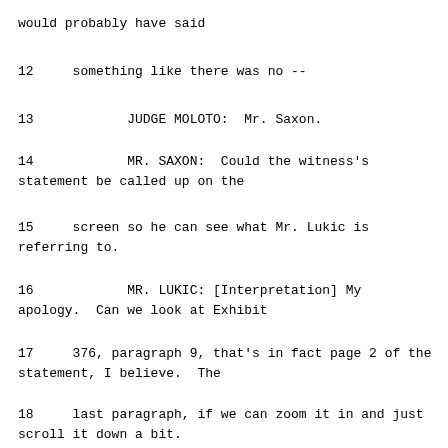would probably have said
12     something like there was no --
13            JUDGE MOLOTO:  Mr. Saxon.
14            MR. SAXON:  Could the witness's statement be called up on the
15     screen so he can see what Mr. Lukic is referring to.
16            MR. LUKIC: [Interpretation] My apology.  Can we look at Exhibit
17     376, paragraph 9, that's in fact page 2 of the statement, I believe.  The
18     last paragraph, if we can zoom it in and just scroll it down a bit.